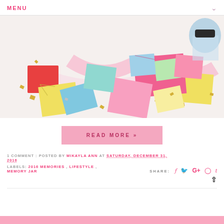MENU
[Figure (photo): Colorful folded paper notes, small envelopes, and gold confetti scattered on a white surface with a glass jar in the background — a memory jar craft project.]
READ MORE »
1 COMMENT : POSTED BY MIKAYLA ANN AT SATURDAY, DECEMBER 31, 2016
LABELS: 2016 MEMORIES , LIFESTYLE , MEMORY JAR
SHARE: